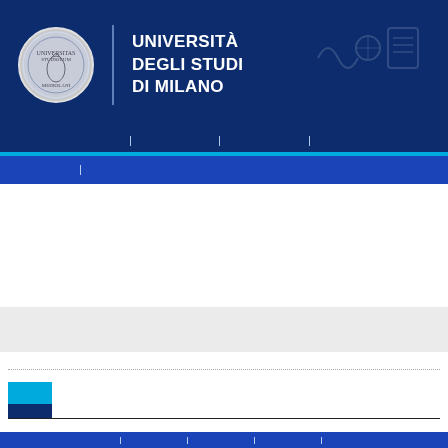[Figure (logo): University of Milano header with circular seal on left, vertical divider, and bold white text reading UNIVERSITÀ DEGLI STUDI DI MILANO on dark navy background]
UNIVERSITÀ DEGLI STUDI DI MILANO